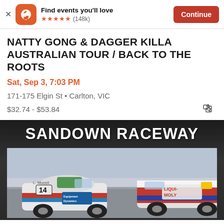[Figure (screenshot): Eventbrite app banner with logo, tagline 'Find events you’ll love', 5 orange stars, (148k) reviews, and a red Continue button]
NATTY GONG & DAGGER KILLA AUSTRALIAN TOUR / BACK TO THE ROOTS
Sat, Sep 3, 7:03 PM
171-175 Elgin St • Carlton, VIC
$32.74 - $53.84
[Figure (photo): Sandown Raceway promotional image showing two racing cars (number 14 with Equipment Dynamics branding and a Liqui-Moly car) on a racetrack, with 'SANDOWN RACEWAY' text overlay]